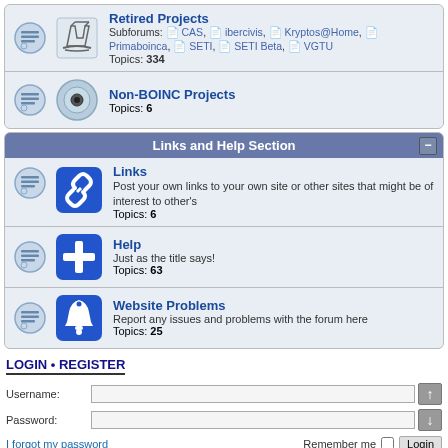Retired Projects
Subforums: CAS, ibercivis, Kryptos@Home, Primaboinca, SETI, SETI Beta, VGTU
Topics: 334
Non-BOINC Projects
Topics: 6
Links and Help Section
Links
Post your own links to your own site or other sites that might be of interest to other's
Topics: 6
Help
Just as the title says!
Topics: 63
Website Problems
Report any issues and problems with the forum here
Topics: 25
LOGIN • REGISTER
Username:
Password:
I forgot my password
Remember me
Login